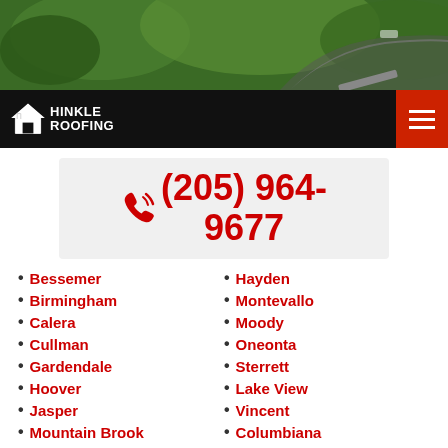[Figure (photo): Aerial/roadside photo of green forested hills with a winding road]
Hinkle Roofing — navigation bar with logo and hamburger menu
(205) 964-9677
Bessemer
Birmingham
Calera
Cullman
Gardendale
Hoover
Jasper
Mountain Brook
Pell City
Hayden
Montevallo
Moody
Oneonta
Sterrett
Lake View
Vincent
Columbiana
Dixiana
REQUEST A FREE ESTIMATE